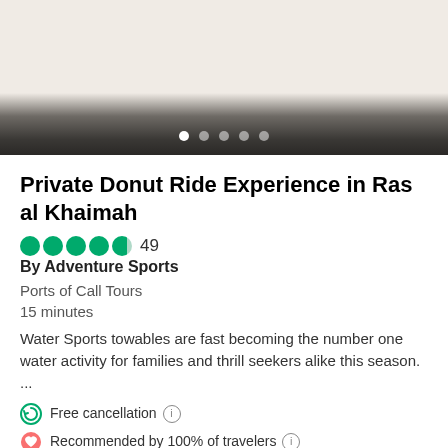[Figure (photo): Photo carousel area showing a water sports/donut ride experience, with gradient fade to dark at bottom and 5 navigation dots]
Private Donut Ride Experience in Ras al Khaimah
49 (reviews) — By Adventure Sports
Ports of Call Tours
15 minutes
Water Sports towables are fast becoming the number one water activity for families and thrill seekers alike this season. ...
Free cancellation (i)
Recommended by 100% of travelers (i)
from $61.40 per adult
Reserve